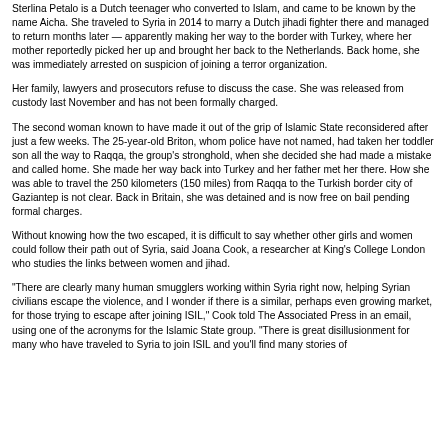Sterlina Petalo is a Dutch teenager who converted to Islam, and came to be known by the name Aicha. She traveled to Syria in 2014 to marry a Dutch jihadi fighter there and managed to return months later — apparently making her way to the border with Turkey, where her mother reportedly picked her up and brought her back to the Netherlands. Back home, she was immediately arrested on suspicion of joining a terror organization.
Her family, lawyers and prosecutors refuse to discuss the case. She was released from custody last November and has not been formally charged.
The second woman known to have made it out of the grip of Islamic State reconsidered after just a few weeks. The 25-year-old Briton, whom police have not named, had taken her toddler son all the way to Raqqa, the group's stronghold, when she decided she had made a mistake and called home. She made her way back into Turkey and her father met her there. How she was able to travel the 250 kilometers (150 miles) from Raqqa to the Turkish border city of Gaziantep is not clear. Back in Britain, she was detained and is now free on bail pending formal charges.
Without knowing how the two escaped, it is difficult to say whether other girls and women could follow their path out of Syria, said Joana Cook, a researcher at King's College London who studies the links between women and jihad.
"There are clearly many human smugglers working within Syria right now, helping Syrian civilians escape the violence, and I wonder if there is a similar, perhaps even growing market, for those trying to escape after joining ISIL," Cook told The Associated Press in an email, using one of the acronyms for the Islamic State group. "There is great disillusionment for many who have traveled to Syria to join ISIL and you'll find many stories of